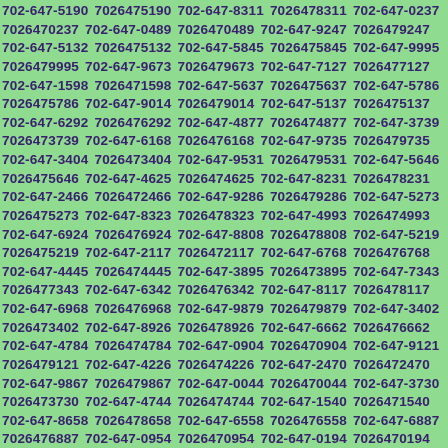702-647-5190 7026475190 702-647-8311 7026478311 702-647-0237 7026470237 702-647-0489 7026470489 702-647-9247 7026479247 702-647-5132 7026475132 702-647-5845 7026475845 702-647-9995 7026479995 702-647-9673 7026479673 702-647-7127 7026477127 702-647-1598 7026471598 702-647-5637 7026475637 702-647-5786 7026475786 702-647-9014 7026479014 702-647-5137 7026475137 702-647-6292 7026476292 702-647-4877 7026474877 702-647-3739 7026473739 702-647-6168 7026476168 702-647-9735 7026479735 702-647-3404 7026473404 702-647-9531 7026479531 702-647-5646 7026475646 702-647-4625 7026474625 702-647-8231 7026478231 702-647-2466 7026472466 702-647-9286 7026479286 702-647-5273 7026475273 702-647-8323 7026478323 702-647-4993 7026474993 702-647-6924 7026476924 702-647-8808 7026478808 702-647-5219 7026475219 702-647-2117 7026472117 702-647-6768 7026476768 702-647-4445 7026474445 702-647-3895 7026473895 702-647-7343 7026477343 702-647-6342 7026476342 702-647-8117 7026478117 702-647-6968 7026476968 702-647-9879 7026479879 702-647-3402 7026473402 702-647-8926 7026478926 702-647-6662 7026476662 702-647-4784 7026474784 702-647-0904 7026470904 702-647-9121 7026479121 702-647-4226 7026474226 702-647-2470 7026472470 702-647-9867 7026479867 702-647-0044 7026470044 702-647-3730 7026473730 702-647-4744 7026474744 702-647-1540 7026471540 702-647-8658 7026478658 702-647-6558 7026476558 702-647-6887 7026476887 702-647-0954 7026470954 702-647-0194 7026470194 702-647-3940 7026473940 702-647-6816 7026476816 702-647-2302 7026472302 702-647-3064 7026473064 702-647-2385 7026472385